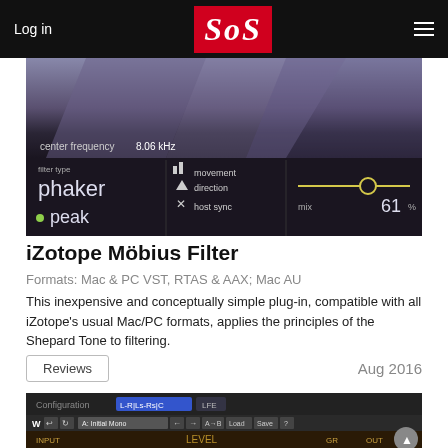Log in | SOS
[Figure (screenshot): iZotope Möbius Filter plugin screenshot showing filter type 'phaker', peak mode, movement controls, direction, host sync, and mix at 61%, center frequency 8.06 kHz]
iZotope Möbius Filter
Formats: Mac & PC VST, RTAS & AAX; Mac AU
This inexpensive and conceptually simple plug-in, compatible with all iZotope's usual Mac/PC formats, applies the principles of the Shepard Tone to filtering.
Reviews
Aug 2016
[Figure (screenshot): Waves plugin screenshot showing Configuration L-R|Ls-Rs|C LFE, toolbar with preset A: Initial Mono, and meter controls with INPUT, GR, OUT labels and LEVEL knob]